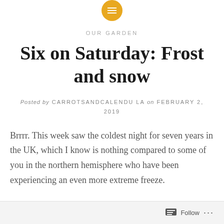[Figure (logo): Yellow circular icon with white horizontal lines (hamburger/menu icon)]
OUR GARDEN
Six on Saturday: Frost and snow
Posted by CARROTSANDCALENDU LA on FEBRUARY 2, 2019
Brrrr. This week saw the coldest night for seven years in the UK, which I know is nothing compared to some of you in the northern hemisphere who have been experiencing an even more extreme freeze.
Here in the South East of England, the snow did not
Follow ...